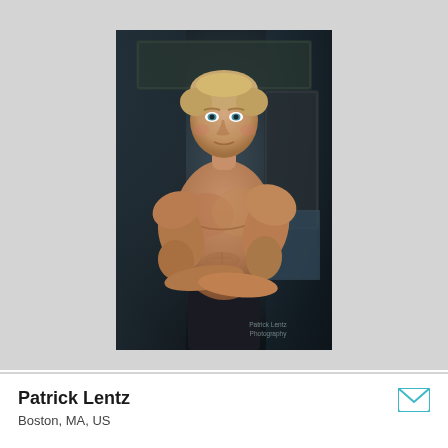[Figure (photo): Professional fitness/modeling photograph of Patrick Lentz, a muscular young man with blonde hair and blue eyes, shirtless with arms crossed, posed against a dark HDR-processed metallic/wood background. Watermark reads 'Patrick Lentz Photography' in bottom right corner.]
Patrick Lentz
Boston, MA, US